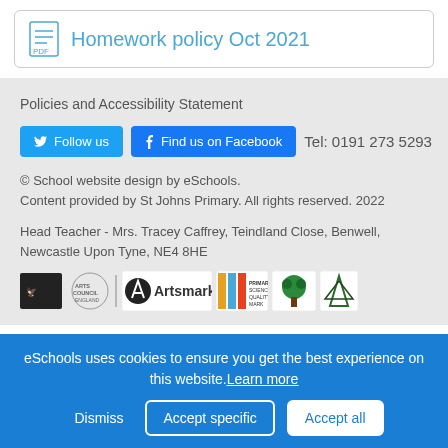Homework policy Oct 2021
Policies and Accessibility Statement
Follow us  Find us on Facebook  Tel: 0191 273 5293
© School website design by eSchools.
Content provided by St Johns Primary. All rights reserved. 2022
Head Teacher - Mrs. Tracey Caffrey, Teindland Close, Benwell, Newcastle Upon Tyne, NE4 8HE
[Figure (logo): Row of school accreditation logos including Artsmark and other quality marks]
eSchools uses cookies to ensure you get the best experience on this website. Learn more
Dismiss  Accept specific  Accept all